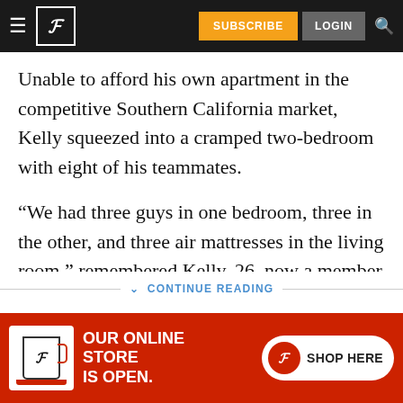P | SUBSCRIBE | LOGIN
Unable to afford his own apartment in the competitive Southern California market, Kelly squeezed into a cramped two-bedroom with eight of his teammates.
“We had three guys in one bedroom, three in the other, and three air mattresses in the living room,” remembered Kelly, 26, now a member of the bullpen for the Triple-A Worcester Red Sox. “That was tough.”
CONTINUE READING
[Figure (advertisement): Red banner ad reading OUR ONLINE STORE IS OPEN with a mug with P logo on left and SHOP HERE button on right]